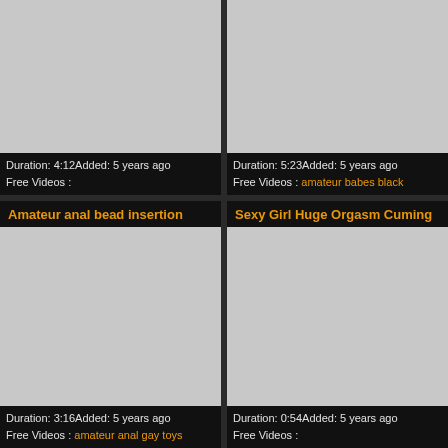[Figure (screenshot): Gray thumbnail placeholder for video 1 (top-left)]
Duration: 4:12Added: 5 years ago
Free Videos :
[Figure (screenshot): Gray thumbnail placeholder for video 2 (top-right)]
Duration: 5:23Added: 5 years ago
Free Videos : amateur babes black
Amateur anal bead insertion
Sexy Girl Huge Orgasm Cuming
[Figure (screenshot): Gray thumbnail placeholder for video 3 (bottom-left)]
Duration: 3:16Added: 5 years ago
Free Videos : amateur anal gay toys
[Figure (screenshot): Gray thumbnail placeholder for video 4 (bottom-right)]
Duration: 0:54Added: 5 years ago
Free Videos :